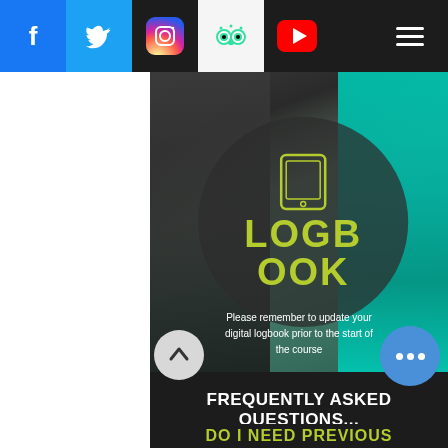Social media navigation bar with Facebook, Twitter, Instagram, TripAdvisor, YouTube icons and hamburger menu
[Figure (screenshot): Hero image with rocky background and teal jacket, circular dark overlay with tablet icon, LOGBOOK title in yellow-green, subtitle text]
LOGBOOK
Please remember to update your digital logbook prior to the start of the course
FREQUENTLY ASKED QUESTIONS...
DO I NEED PREVIOUS